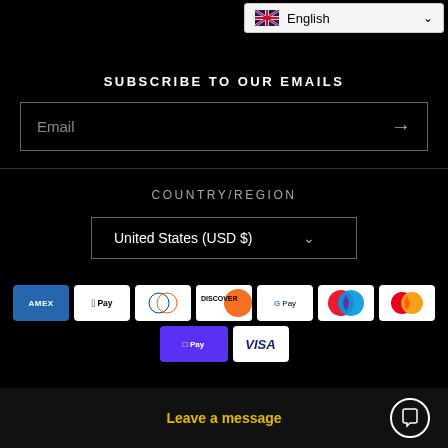[Figure (screenshot): Language selector dropdown showing UK flag and 'English' text with chevron, on light background]
SUBSCRIBE TO OUR EMAILS
Email (input field with arrow button)
COUNTRY/REGION
United States (USD $) dropdown
[Figure (infographic): Payment method icons: American Express, Apple Pay, Diners Club, Discover, Google Pay, Maestro, Mastercard, Shop Pay, Visa]
Leave a message